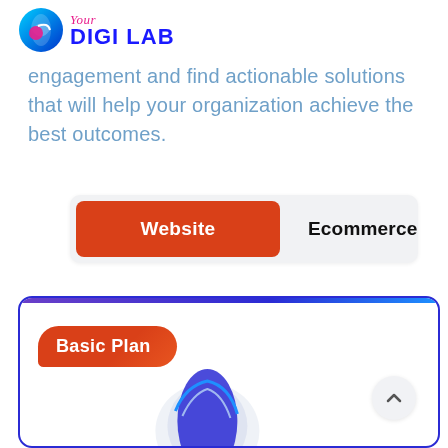[Figure (logo): Your Digi Lab logo with circular icon on left and text 'Your DIGI LAB' on right]
engagement and find actionable solutions that will help your organization achieve the best outcomes.
[Figure (infographic): Tab bar with two options: 'Website' (active, orange-red background) and 'Ecommerce' (inactive, grey background)]
[Figure (infographic): Pricing plan card with blue border, gradient top bar, orange-red 'Basic Plan' badge, circular graphic at bottom, and scroll-up button]